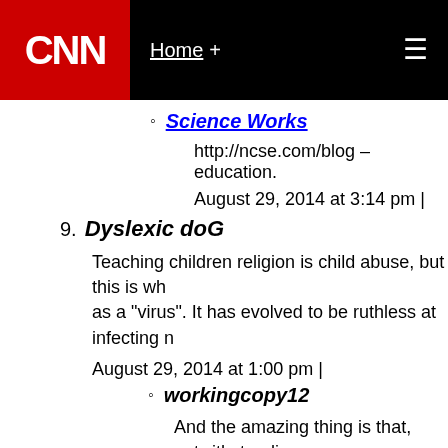CNN — Home +
Science Works — http://ncse.com/blog – education. August 29, 2014 at 3:14 pm |
9. Dyslexic doG — Teaching children religion is child abuse, but this is wh... as a "virus". It has evolved to be ruthless at infecting n... August 29, 2014 at 1:00 pm |
workingcopy12 — And the amazing thing is that, notwithstanding yo... enough to send his Son to pay the price for your... vitriol in 5....4....3....2....1.... August 29, 2014 at 1:09 pm |
bostontola